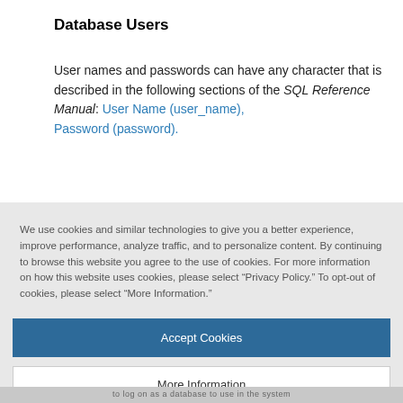Database Users
User names and passwords can have any character that is described in the following sections of the SQL Reference Manual: User Name (user_name), Password (password).
We use cookies and similar technologies to give you a better experience, improve performance, analyze traffic, and to personalize content. By continuing to browse this website you agree to the use of cookies. For more information on how this website uses cookies, please select “Privacy Policy.” To opt-out of cookies, please select “More Information.”
Accept Cookies
More Information
Privacy Policy | Powered by: TrustArc